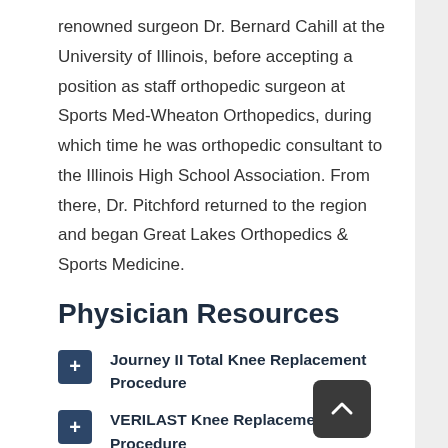renowned surgeon Dr. Bernard Cahill at the University of Illinois, before accepting a position as staff orthopedic surgeon at Sports Med-Wheaton Orthopedics, during which time he was orthopedic consultant to the Illinois High School Association. From there, Dr. Pitchford returned to the region and began Great Lakes Orthopedics & Sports Medicine.
Physician Resources
Journey II Total Knee Replacement Procedure
VERILAST Knee Replacement Procedure
Oxinium - VERILAST Total Knee Replacement Procedure